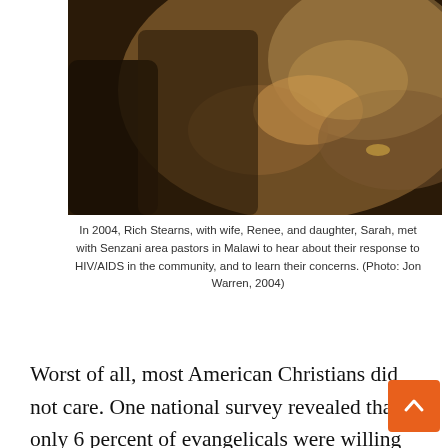[Figure (photo): People with hands clasped together in prayer or discussion, warm toned lighting, close-up photo.]
In 2004, Rich Stearns, with wife, Renee, and daughter, Sarah, met with Senzani area pastors in Malawi to hear about their response to HIV/AIDS in the community, and to learn their concerns. (Photo: Jon Warren, 2004)
Worst of all, most American Christians did not care. One national survey revealed that only 6 percent of evangelicals were willing to help orphaned children, the most innocent victims of AIDS. Despite that disturbing news, my colleagues and I believed that God was calling to care for “widows and orphans in their distress.”